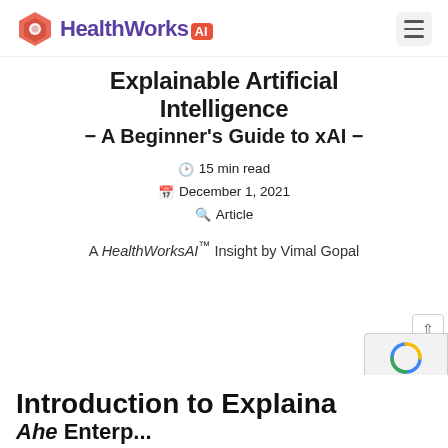HealthWorks AI
Explainable Artificial Intelligence - A Beginner's Guide to xAI -
15 min read
December 1, 2021
Article
A HealthWorksAI™ Insight by Vimal Gopal
Introduction to Explainable Artificial Intelligence